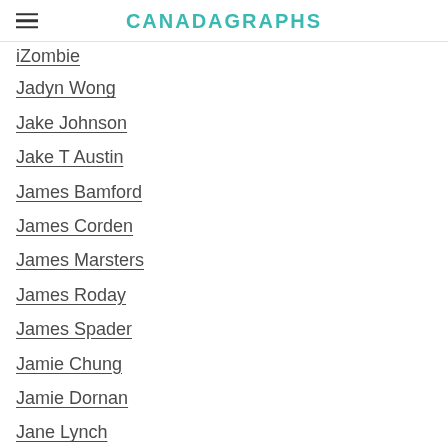CANADAGRAPHS
iZombie
Jadyn Wong
Jake Johnson
Jake T Austin
James Bamford
James Corden
James Marsters
James Roday
James Spader
Jamie Chung
Jamie Dornan
Jane Lynch
Jane The Virgin
Jared Gilmore
Jared Padalecki